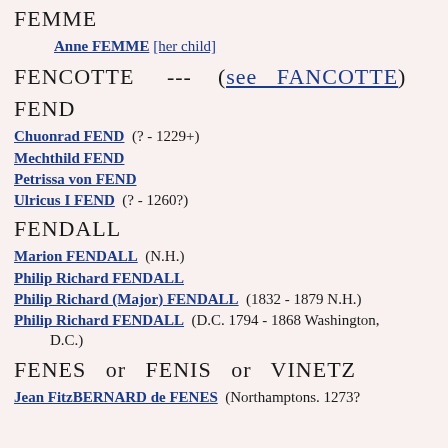FEMME
Anne FEMME [her child]
FENCOTTE   ---   (see  FANCOTTE)
FEND
Chuonrad FEND  (? - 1229+)
Mechthild FEND
Petrissa von FEND
Ulricus I FEND  (? - 1260?)
FENDALL
Marion FENDALL  (N.H.)
Philip Richard FENDALL
Philip Richard (Major) FENDALL  (1832 - 1879 N.H.)
Philip Richard FENDALL  (D.C. 1794 - 1868 Washington, D.C.)
FENES  or  FENIS  or  VINETZ
Jean FitzBERNARD de FENES  (Northamptons. 1273?…